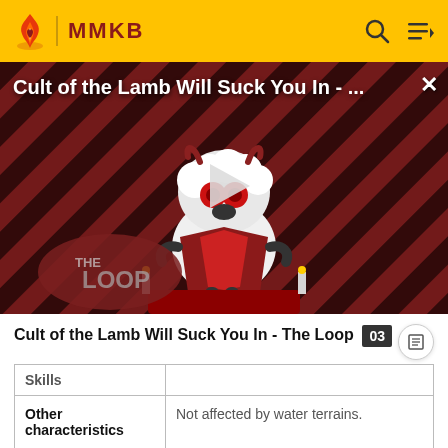MMKB
[Figure (screenshot): Video thumbnail for 'Cult of the Lamb Will Suck You In - ...' showing a cartoon lamb character with red eyes on a striped background with THE LOOP branding, with a play button overlay]
Cult of the Lamb Will Suck You In - The Loop
| Skills |  |
| --- | --- |
| Other characteristics | Not affected by water terrains. |